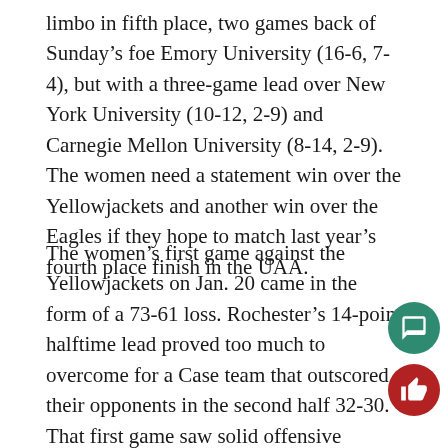limbo in fifth place, two games back of Sunday's foe Emory University (16-6, 7-4), but with a three-game lead over New York University (10-12, 2-9) and Carnegie Mellon University (8-14, 2-9). The women need a statement win over the Yellowjackets and another win over the Eagles if they hope to match last year's fourth place finish in the UAA.
The women's first game against the Yellowjackets on Jan. 20 came in the form of a 73-61 loss. Rochester's 14-point halftime lead proved too much to overcome for a Case team that outscored their opponents in the second half 32-30. That first game saw solid offensive production from four of the starting Spartans: senior Erin Hollinger and juniors Evy Iacono and Erica Iafelice were all in double digits with 12, and 13 points respectively. Senior Chelsea Peck also [had] a great performance offensively, netting nine points and [seven] rebounds, four of which were offensive rebounds. The